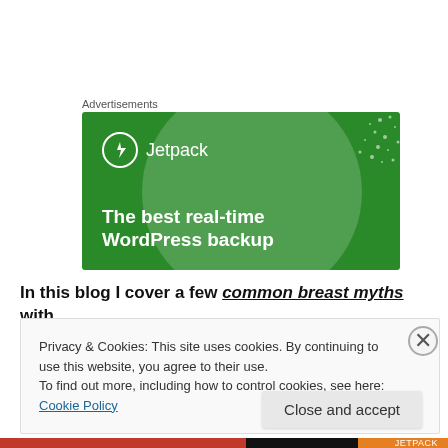Advertisements
[Figure (illustration): Jetpack advertisement banner with green background, circular gradient shape, white dot pattern, Jetpack logo (lightning bolt circle icon) and text: 'The best real-time WordPress backup']
In this blog I cover a few common breast myths with
Privacy & Cookies: This site uses cookies. By continuing to use this website, you agree to their use.
To find out more, including how to control cookies, see here: Cookie Policy
Close and accept